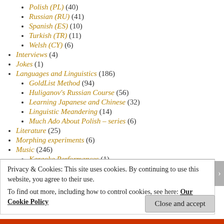Polish (PL) (40)
Russian (RU) (41)
Spanish (ES) (10)
Turkish (TR) (11)
Welsh (CY) (6)
Interviews (4)
Jokes (1)
Languages and Linguistics (186)
GoldList Method (94)
Huliganov's Russian Course (56)
Learning Japanese and Chinese (32)
Linguistic Meandering (14)
Much Ado About Polish – series (6)
Literature (25)
Morphing experiments (6)
Music (246)
Karaoke Performances (1)
Privacy & Cookies: This site uses cookies. By continuing to use this website, you agree to their use. To find out more, including how to control cookies, see here: Our Cookie Policy
Close and accept